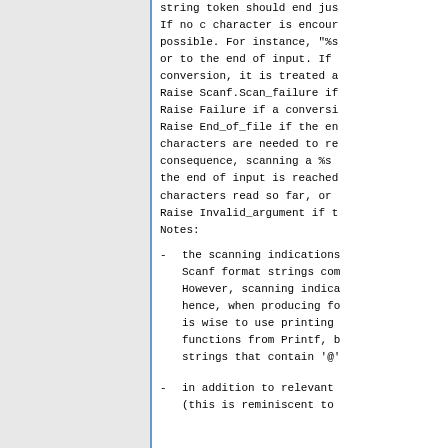string token should end jus If no c character is encour possible. For instance, "%s or to the end of input. If conversion, it is treated a Raise Scanf.Scan_failure if Raise Failure if a conversi Raise End_of_file if the en characters are needed to re consequence, scanning a %s the end of input is reached characters read so far, or Raise Invalid_argument if t Notes:
the scanning indications Scanf format strings com However, scanning indica hence, when producing fo is wise to use printing functions from Printf, b strings that contain '@'
in addition to relevant (this is reminiscent to